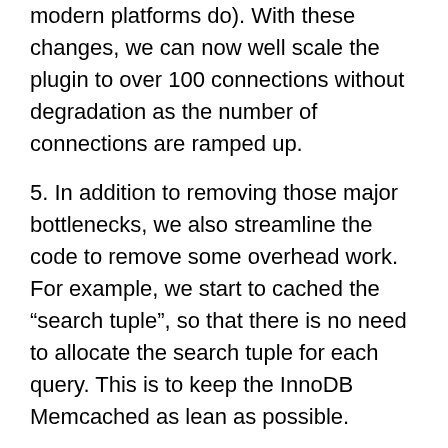modern platforms do). With these changes, we can now well scale the plugin to over 100 connections without degradation as the number of connections are ramped up.
5. In addition to removing those major bottlenecks, we also streamline the code to remove some overhead work. For example, we start to cached the “search tuple”, so that there is no need to allocate the search tuple for each query. This is to keep the InnoDB Memcached as lean as possible.
With these changes, we have eliminated all the major InnoDB Memcached Plugin bottlenecks. The bottlenecks now comes from clients themselves and to a lesser degree from the Adaptive Hash Index